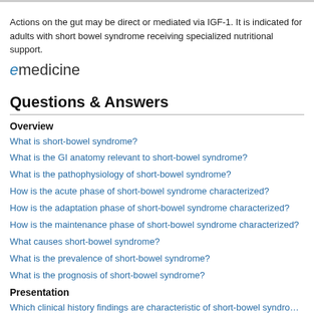Actions on the gut may be direct or mediated via IGF-1. It is indicated for adults with short bowel syndrome receiving specialized nutritional support.
[Figure (logo): eMedicine logo with stylized italic 'e' in blue and 'medicine' in dark text]
Questions & Answers
Overview
What is short-bowel syndrome?
What is the GI anatomy relevant to short-bowel syndrome?
What is the pathophysiology of short-bowel syndrome?
How is the acute phase of short-bowel syndrome characterized?
How is the adaptation phase of short-bowel syndrome characterized?
How is the maintenance phase of short-bowel syndrome characterized?
What causes short-bowel syndrome?
What is the prevalence of short-bowel syndrome?
What is the prognosis of short-bowel syndrome?
Presentation
Which clinical history findings are characteristic of short-bowel syndrome?